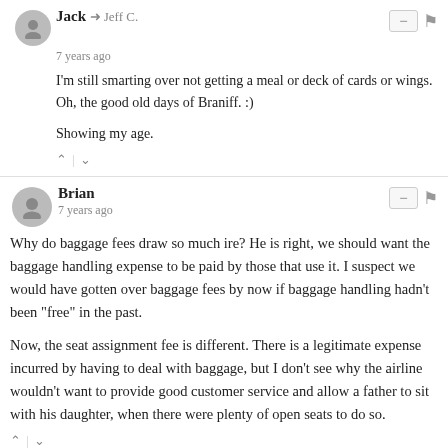Jack → Jeff C.
7 years ago
I'm still smarting over not getting a meal or deck of cards or wings. Oh, the good old days of Braniff. :)

Showing my age.
Brian
7 years ago
Why do baggage fees draw so much ire? He is right, we should want the baggage handling expense to be paid by those that use it. I suspect we would have gotten over baggage fees by now if baggage handling hadn't been "free" in the past.

Now, the seat assignment fee is different. There is a legitimate expense incurred by having to deal with baggage, but I don't see why the airline wouldn't want to provide good customer service and allow a father to sit with his daughter, when there were plenty of open seats to do so.
Bob Collins → Brian